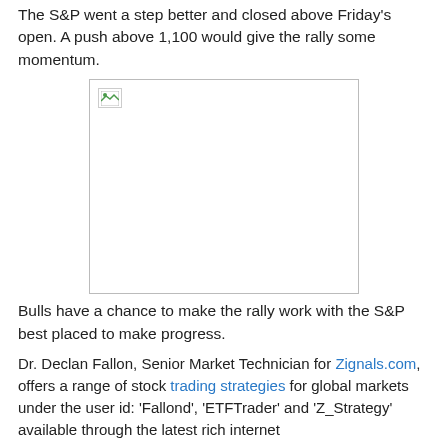The S&P went a step better and closed above Friday's open. A push above 1,100 would give the rally some momentum.
[Figure (other): Broken/missing image placeholder with border]
Bulls have a chance to make the rally work with the S&P best placed to make progress.
Dr. Declan Fallon, Senior Market Technician for Zignals.com, offers a range of stock trading strategies for global markets under the user id: 'Fallond', 'ETFTrader' and 'Z_Strategy' available through the latest rich internet